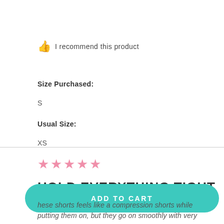I recommend this product
Size Purchased:
S
Usual Size:
XS
[Figure (other): 5 pink stars rating]
HOLD EVERYTHING TIGHT
ADD TO CART
These shorts feels like a compression shorts while putting them on, but they go on smoothly with very